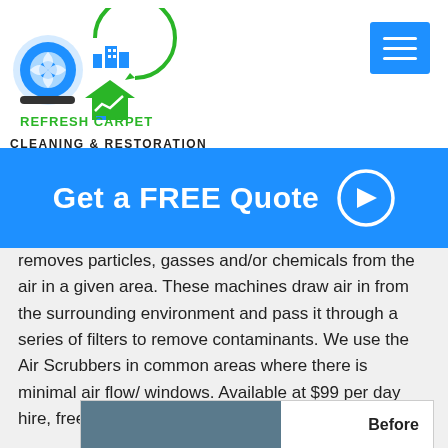[Figure (logo): Refresh Carpet Cleaning & Restoration logo with blue fan/dryer equipment, green buildings icon, and house with graph icon]
[Figure (other): Blue hamburger menu button icon in top right corner]
Get a FREE Quote →
removes particles, gasses and/or chemicals from the air in a given area. These machines draw air in from the surrounding environment and pass it through a series of filters to remove contaminants. We use the Air Scrubbers in common areas where there is minimal air flow/ windows. Available at $99 per day hire, free setup and delivery.
[Figure (photo): Before and after image strip showing carpet or surface cleaning comparison, with dark left portion and 'Before' label on right]